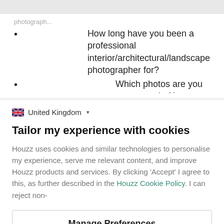photograph...
How long have you been a professional interior/architectural/landscape photographer for?
Which photos are you most proud of in your portfolio
🇬🇧 United Kingdom ▾
Tailor my experience with cookies
Houzz uses cookies and similar technologies to personalise my experience, serve me relevant content, and improve Houzz products and services. By clicking 'Accept' I agree to this, as further described in the Houzz Cookie Policy. I can reject non-
Manage Preferences
Accept